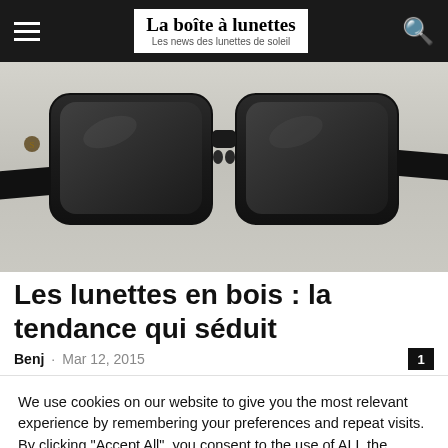La boîte à lunettes — Les news des lunettes de soleil
[Figure (photo): Close-up photo of dark wood-framed sunglasses with striped teal/cream/black temples against a light gray background]
Les lunettes en bois : la tendance qui séduit
Benj · Mar 12, 2015   1
We use cookies on our website to give you the most relevant experience by remembering your preferences and repeat visits. By clicking "Accept All", you consent to the use of ALL the cookies. However, you may visit "Cookie Settings" to provide a controlled consent.